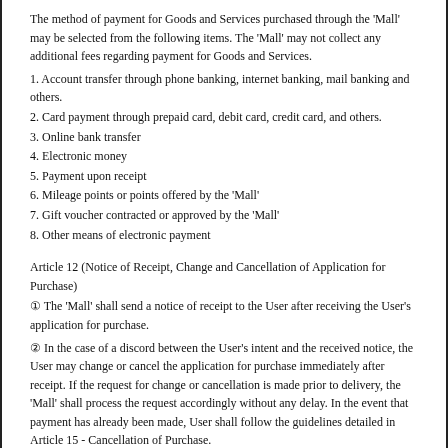The method of payment for Goods and Services purchased through the 'Mall' may be selected from the following items. The 'Mall' may not collect any additional fees regarding payment for Goods and Services.
1. Account transfer through phone banking, internet banking, mail banking and others.
2. Card payment through prepaid card, debit card, credit card, and others.
3. Online bank transfer
4. Electronic money
5. Payment upon receipt
6. Mileage points or points offered by the 'Mall'
7. Gift voucher contracted or approved by the 'Mall'
8. Other means of electronic payment
Article 12 (Notice of Receipt, Change and Cancellation of Application for Purchase)
① The 'Mall' shall send a notice of receipt to the User after receiving the User's application for purchase.
② In the case of a discord between the User's intent and the received notice, the User may change or cancel the application for purchase immediately after receipt. If the request for change or cancellation is made prior to delivery, the 'Mall' shall process the request accordingly without any delay. In the event that payment has already been made, User shall follow the guidelines detailed in Article 15 - Cancellation of Purchase.